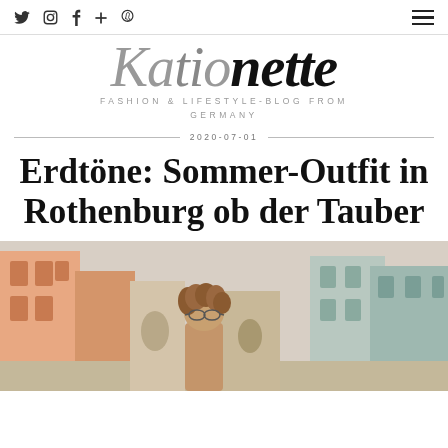Twitter Instagram Facebook Google+ Pinterest | Menu
Kationette
FASHION & LIFESTYLE-BLOG FROM GERMANY
2020-07-01
Erdtöne: Sommer-Outfit in Rothenburg ob der Tauber
[Figure (photo): Photo of a woman with curly hair and glasses standing on a street in Rothenburg ob der Tauber, with colorful buildings in the background.]